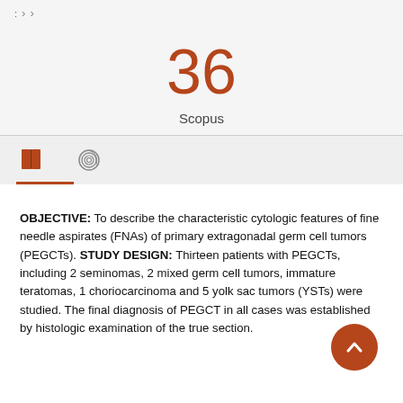: > >
36
Scopus
[Figure (other): Icon bar with book icon and fingerprint/settings icon, with a red underline beneath the book icon]
OBJECTIVE: To describe the characteristic cytologic features of fine needle aspirates (FNAs) of primary extragonadal germ cell tumors (PEGCTs). STUDY DESIGN: Thirteen patients with PEGCTs, including 2 seminomas, 2 mixed germ cell tumors, immature teratomas, 1 choriocarcinoma and 5 yolk sac tumors (YSTs) were studied. The final diagnosis of PEGCT in all cases was established by histologic examination of the true section.